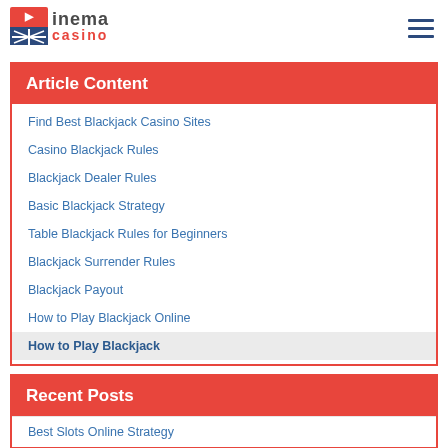inema casino
Article Content
Find Best Blackjack Casino Sites
Casino Blackjack Rules
Blackjack Dealer Rules
Basic Blackjack Strategy
Table Blackjack Rules for Beginners
Blackjack Surrender Rules
Blackjack Payout
How to Play Blackjack Online
How to Play Blackjack
Recent Posts
Best Slots Online Strategy